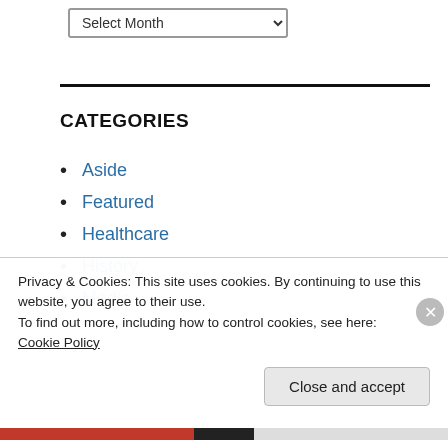Select Month (dropdown)
CATEGORIES
Aside
Featured
Healthcare
History
Media
Privacy & Cookies: This site uses cookies. By continuing to use this website, you agree to their use.
To find out more, including how to control cookies, see here:
Cookie Policy
Close and accept